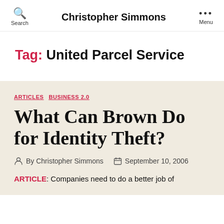Christopher Simmons
Tag: United Parcel Service
ARTICLES  BUSINESS 2.0
What Can Brown Do for Identity Theft?
By Christopher Simmons  September 10, 2006
ARTICLE: Companies need to do a better job of